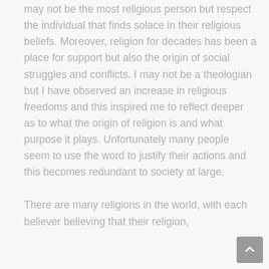may not be the most religious person but respect the individual that finds solace in their religious beliefs. Moreover, religion for decades has been a place for support but also the origin of social struggles and conflicts. I may not be a theologian but I have observed an increase in religious freedoms and this inspired me to reflect deeper as to what the origin of religion is and what purpose it plays. Unfortunately many people seem to use the word to justify their actions and this becomes redundant to society at large.
There are many religions in the world, with each believer believing that their religion,